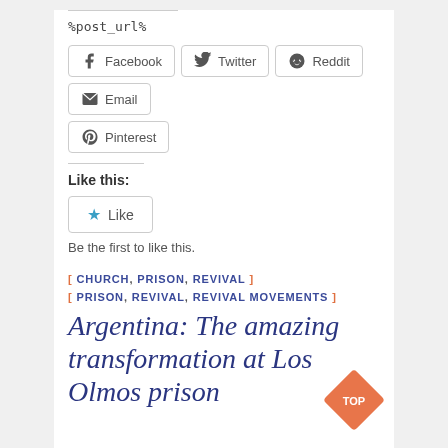%post_url%
[Figure (other): Social share buttons: Facebook, Twitter, Reddit, Email, Pinterest]
Like this:
[Figure (other): Like button with star icon and text 'Like']
Be the first to like this.
[ CHURCH, PRISON, REVIVAL ]
[ PRISON, REVIVAL, REVIVAL MOVEMENTS ]
Argentina: The amazing transformation at Los Olmos prison